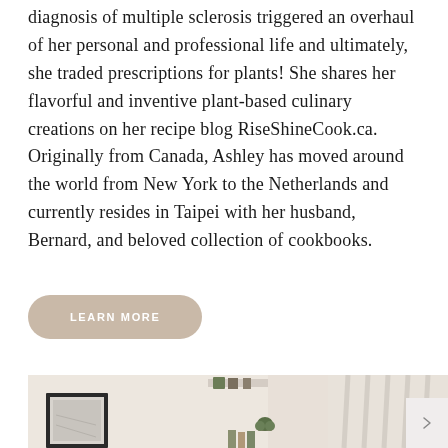diagnosis of multiple sclerosis triggered an overhaul of her personal and professional life and ultimately, she traded prescriptions for plants! She shares her flavorful and inventive plant-based culinary creations on her recipe blog RiseShineCook.ca. Originally from Canada, Ashley has moved around the world from New York to the Netherlands and currently resides in Taipei with her husband, Bernard, and beloved collection of cookbooks.
LEARN MORE
[Figure (photo): Interior room photo showing a framed artwork, shelves with plants and books, and beige/cream curtains draped on the right side]